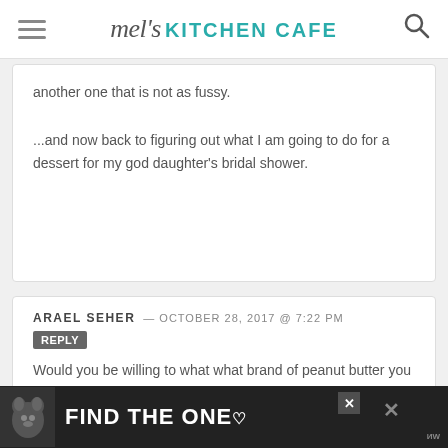mel's KITCHEN CAFE
another one that is not as fussy.

...and now back to figuring out what I am going to do for a dessert for my god daughter's bridal shower.
ARAEL SEHER — OCTOBER 28, 2017 @ 7:22 PM
REPLY

Would you be willing to what what brand of peanut butter you used to make this recipe? Than you!
[Figure (screenshot): Advertisement banner: dog image on left, text 'FIND THE ONE' with heart symbol on dark background]